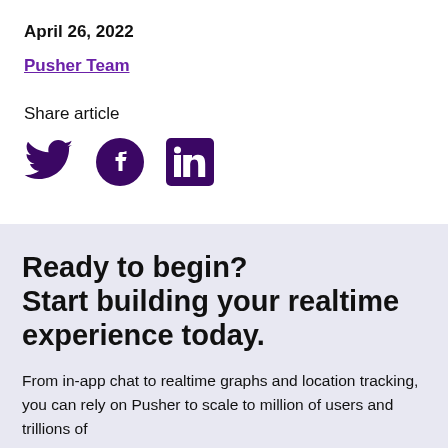April 26, 2022
Pusher Team
Share article
[Figure (illustration): Three social media icons: Twitter bird, Facebook circle, LinkedIn square]
Ready to begin? Start building your realtime experience today.
From in-app chat to realtime graphs and location tracking, you can rely on Pusher to scale to million of users and trillions of